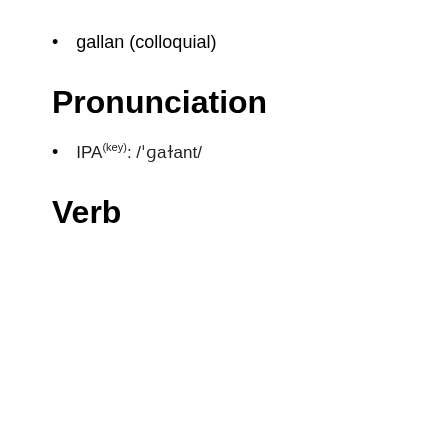gallan (colloquial)
Pronunciation
IPA(key): /ˈɡaɫant/
Verb